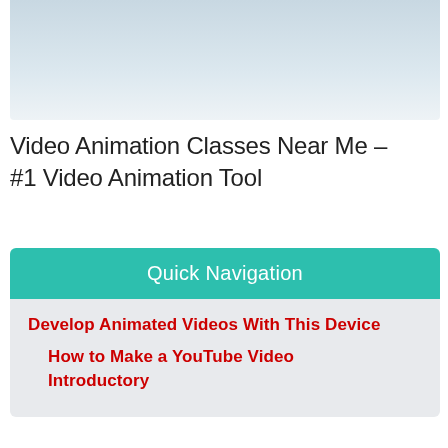[Figure (photo): Partial photo showing a light blue/grey background, appears to be a cropped image at the top of the page]
Video Animation Classes Near Me – #1 Video Animation Tool
Quick Navigation
Develop Animated Videos With This Device
How to Make a YouTube Video Introductory